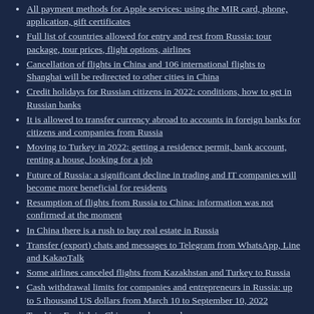All payment methods for Apple services: using the MIR card, phone, application, gift certificates
Full list of countries allowed for entry and rest from Russia: tour package, tour prices, flight options, airlines
Cancellation of flights in China and 106 international flights to Shanghai will be redirected to other cities in China
Credit holidays for Russian citizens in 2022: conditions, how to get in Russian banks
It is allowed to transfer currency abroad to accounts in foreign banks for citizens and companies from Russia
Moving to Turkey in 2022: getting a residence permit, bank account, renting a house, looking for a job
Future of Russia: a significant decline in trading and IT companies will become more beneficial for residents
Resumption of flights from Russia to China: information was not confirmed at the moment
In China there is a rush to buy real estate in Russia
Transfer (export) chats and messages to Telegram from WhatsApp, Line and KakaoTalk
Some airlines canceled flights from Kazakhstan and Turkey to Russia
Cash withdrawal limits for companies and entrepreneurs in Russia: up to 5 thousand US dollars from March 10 to September 10, 2022
Teaching English in China may become less common